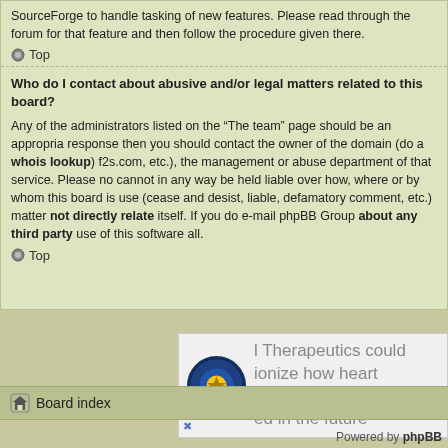SourceForge to handle tasking of new features. Please read through the forum for that feature and then follow the procedure given there.
Top
Who do I contact about abusive and/or legal matters related to this board?
Any of the administrators listed on the “The team” page should be an appropriate response then you should contact the owner of the domain (do a whois lookup) f2s.com, etc.), the management or abuse department of that service. Please note cannot in any way be held liable over how, where or by whom this board is used (cease and desist, liable, defamatory comment, etc.) matter not directly related itself. If you do e-mail phpBB Group about any third party use of this software all.
Top
[Figure (other): Advertisement banner with StreetLion logo and text: l Therapeutics could ionize how heart disease ed in the future]
Board index
Powered by phpBB